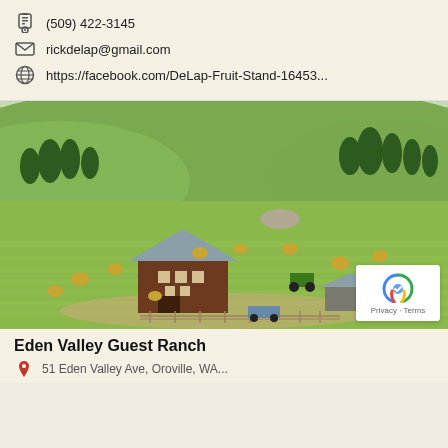(509) 422-3145
rickdelap@gmail.com
https://facebook.com/DeLap-Fruit-Stand-16453...
[Figure (photo): Aerial/elevated view of a farm ranch with a large brown barn with grey roof in the center, green fields with hay bales scattered around, trees on hilltops in the background, a tractor working in the field, and a small outbuilding to the right. A dirt road and fence visible.]
Eden Valley Guest Ranch
51 Eden Valley Ave, Oroville, WA...